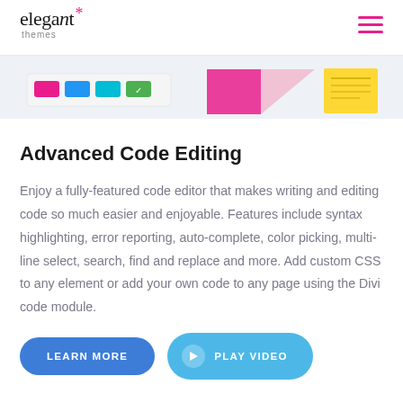elegant themes
[Figure (screenshot): Partial screenshot of the Divi builder interface showing colorful UI elements including buttons and sticky notes]
Advanced Code Editing
Enjoy a fully-featured code editor that makes writing and editing code so much easier and enjoyable. Features include syntax highlighting, error reporting, auto-complete, color picking, multi-line select, search, find and replace and more. Add custom CSS to any element or add your own code to any page using the Divi code module.
LEARN MORE
PLAY VIDEO